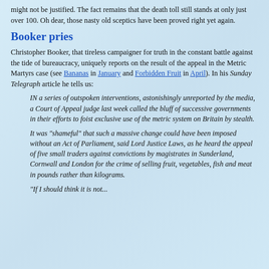might not be justified. The fact remains that the death toll still stands at only just over 100. Oh dear, those nasty old sceptics have been proved right yet again.
Booker pries
Christopher Booker, that tireless campaigner for truth in the constant battle against the tide of bureaucracy, uniquely reports on the result of the appeal in the Metric Martyrs case (see Bananas in January and Forbidden Fruit in April). In his Sunday Telegraph article he tells us:
IN a series of outspoken interventions, astonishingly unreported by the media, a Court of Appeal judge last week called the bluff of successive governments in their efforts to foist exclusive use of the metric system on Britain by stealth.
It was "shameful" that such a massive change could have been imposed without an Act of Parliament, said Lord Justice Laws, as he heard the appeal of five small traders against convictions by magistrates in Sunderland, Cornwall and London for the crime of selling fruit, vegetables, fish and meat in pounds rather than kilograms.
"If I should think it is not..." [continues]